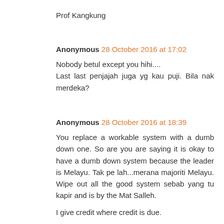Prof Kangkung
Anonymous 28 October 2016 at 17:02
Nobody betul except you hihi....
Last last penjajah juga yg kau puji. Bila nak merdeka?
Anonymous 28 October 2016 at 18:39
You replace a workable system with a dumb down one. So are you are saying it is okay to have a dumb down system because the leader is Melayu. Tak pe lah...merana majoriti Melayu. Wipe out all the good system sebab yang tu kapir and is by the Mat Salleh.

I give credit where credit is due.

Anyway memang pun Malaysia dah merdeka pun tapi ekonomi melayu tak juga ke mana-